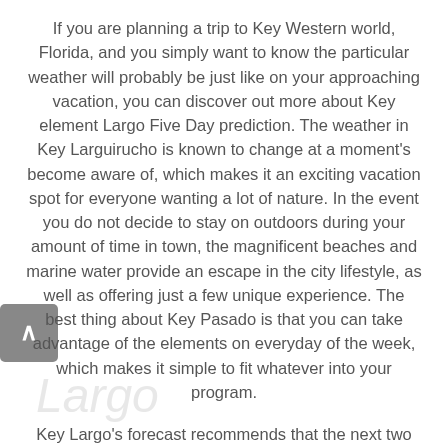If you are planning a trip to Key Western world, Florida, and you simply want to know the particular weather will probably be just like on your approaching vacation, you can discover out more about Key element Largo Five Day prediction. The weather in Key Larguirucho is known to change at a moment's become aware of, which makes it an exciting vacation spot for everyone wanting a lot of nature. In the event you do not decide to stay on outdoors during your amount of time in town, the magnificent beaches and marine water provide an escape in the city lifestyle, as well as offering just a few unique experience. The best thing about Key Pasado is that you can take advantage of the elements on everyday of the week, which makes it simple to fit whatever into your program.
Key Largo's forecast recommends that the next two weeks are going to be mostly cloudy, with a small